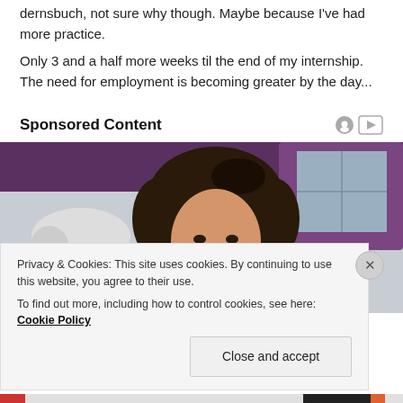dernsbuch, not sure why though. Maybe because I've had more practice.
Only 3 and a half more weeks til the end of my internship. The need for employment is becoming greater by the day...
Sponsored Content
[Figure (photo): A smiling young woman with curly hair, with a white-haired older person in the foreground, purple curtain in background. Sponsored content advertisement image.]
Privacy & Cookies: This site uses cookies. By continuing to use this website, you agree to their use.
To find out more, including how to control cookies, see here: Cookie Policy